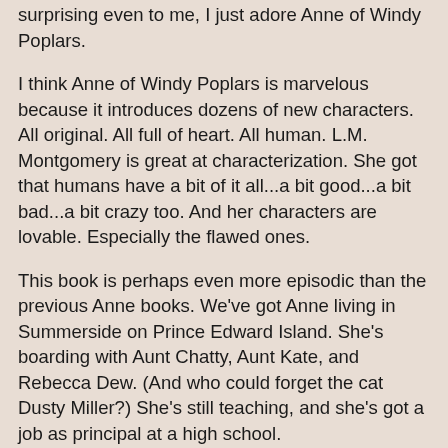surprising even to me, I just adore Anne of Windy Poplars.
I think Anne of Windy Poplars is marvelous because it introduces dozens of new characters. All original. All full of heart. All human. L.M. Montgomery is great at characterization. She got that humans have a bit of it all...a bit good...a bit bad...a bit crazy too. And her characters are lovable. Especially the flawed ones.
This book is perhaps even more episodic than the previous Anne books. We've got Anne living in Summerside on Prince Edward Island. She's boarding with Aunt Chatty, Aunt Kate, and Rebecca Dew. (And who could forget the cat Dusty Miller?) She's still teaching, and she's got a job as principal at a high school.
I think what makes L.M. Montgomery so unique as a writer is that I care. If she writes about it, when she's storytelling, she's got a knack (that should be she had a knack because I *know* she's dead) for making me care. A knack for making me want to know more. She's got me thoroughly under her spell.